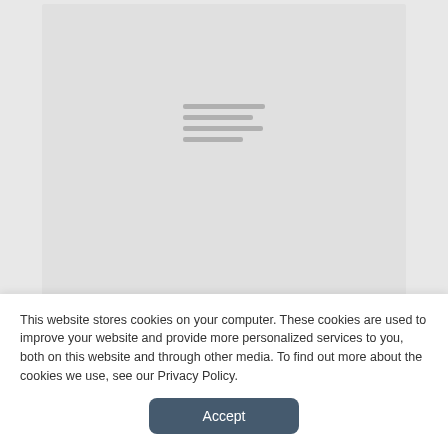[Figure (illustration): Gray placeholder card with hamburger menu lines centered in the upper portion of the page]
Last Chance to Get Discounted Room Rates for AAMI 2009
This website stores cookies on your computer. These cookies are used to improve your website and provide more personalized services to you, both on this website and through other media. To find out more about the cookies we use, see our Privacy Policy.
Accept